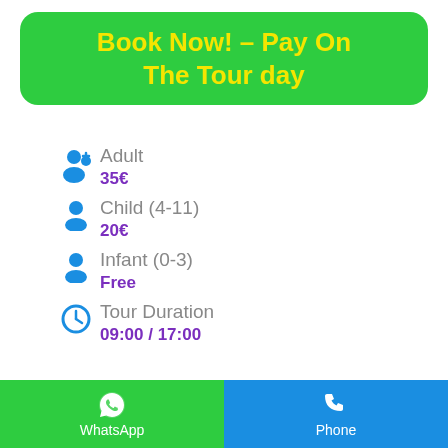[Figure (other): Green rounded button with yellow bold text: Book Now! – Pay On The Tour day]
Adult
35€
Child (4-11)
20€
Infant (0-3)
Free
Tour Duration
09:00 / 17:00
WhatsApp | Phone